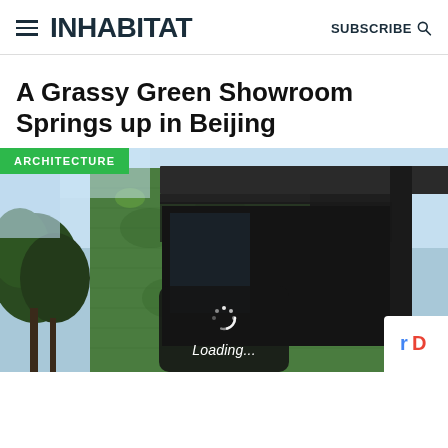INHABITAT  SUBSCRIBE
A Grassy Green Showroom Springs up in Beijing
[Figure (photo): Exterior photograph of a building covered in green living wall vegetation, with a dark metal frame canopy extending outward. Blue sky in background with trees visible on the left side.]
Loading...